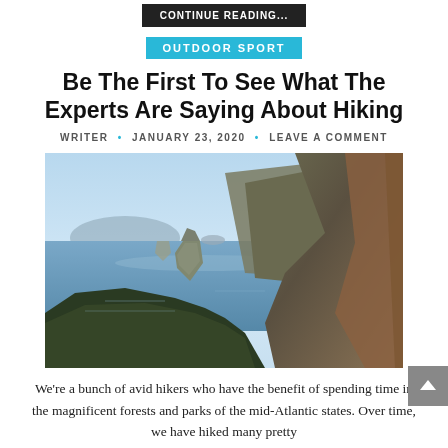CONTINUE READING...
OUTDOOR SPORT
Be The First To See What The Experts Are Saying About Hiking
WRITER • JANUARY 23, 2020 • LEAVE A COMMENT
[Figure (photo): Coastal cliff landscape with rocky sea stacks emerging from blue ocean water, steep hillside covered in heather and grass in the foreground, hazy headlands in the background under a pale blue sky]
We're a bunch of avid hikers who have the benefit of spending time in the magnificent forests and parks of the mid-Atlantic states. Over time, we have hiked many pretty